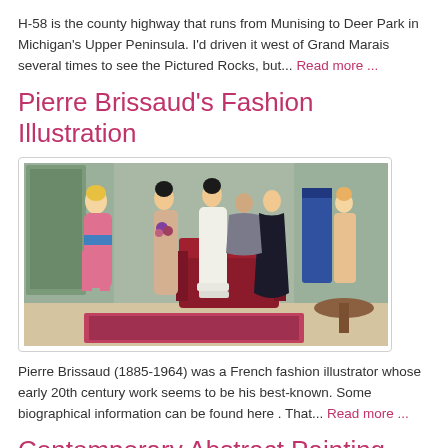H-58 is the county highway that runs from Munising to Deer Park in Michigan's Upper Peninsula. I'd driven it west of Grand Marais several times to see the Pictured Rocks, but... Read more ...
Pierre Brissaud's Fashion Illustration
[Figure (illustration): A colorful fashion illustration by Pierre Brissaud depicting several elegantly dressed women and a man in an interior scene, early 20th century style.]
Pierre Brissaud (1885-1964) was a French fashion illustrator whose early 20th century work seems to be his best-known. Some biographical information can be found here . That... Read more ...
Contemporary Abstract Painting